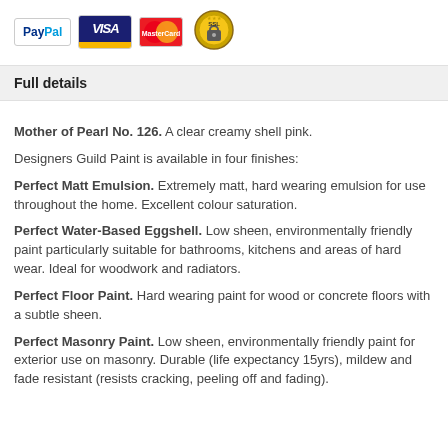[Figure (logo): Payment method logos: PayPal, VISA, MasterCard, and SSL security badge]
Full details
Mother of Pearl No. 126. A clear creamy shell pink.
Designers Guild Paint is available in four finishes:
Perfect Matt Emulsion. Extremely matt, hard wearing emulsion for use throughout the home. Excellent colour saturation.
Perfect Water-Based Eggshell. Low sheen, environmentally friendly paint particularly suitable for bathrooms, kitchens and areas of hard wear. Ideal for woodwork and radiators.
Perfect Floor Paint. Hard wearing paint for wood or concrete floors with a subtle sheen.
Perfect Masonry Paint. Low sheen, environmentally friendly paint for exterior use on masonry. Durable (life expectancy 15yrs), mildew and fade resistant (resists cracking, peeling off and fading).